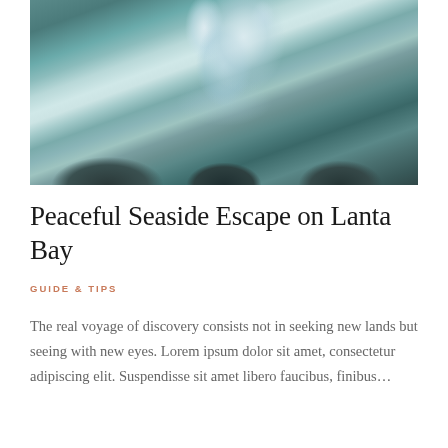[Figure (photo): Aerial or top-down view of a person in white diving or falling into a waterfall or rushing water, surrounded by dark rocks and white splashing water]
Peaceful Seaside Escape on Lanta Bay
GUIDE & TIPS
The real voyage of discovery consists not in seeking new lands but seeing with new eyes. Lorem ipsum dolor sit amet, consectetur adipiscing elit. Suspendisse sit amet libero faucibus, finibus…